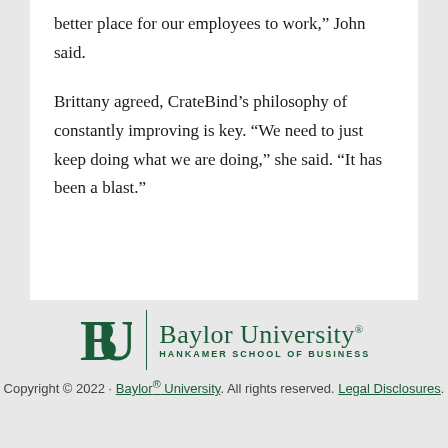better place for our employees to work,” John said.
Brittany agreed, CrateBind’s philosophy of constantly improving is key. “We need to just keep doing what we are doing,” she said. “It has been a blast.”
[Figure (logo): Baylor University Hankamer School of Business logo with BU icon and text]
Copyright © 2022 · Baylor® University. All rights reserved. Legal Disclosures.